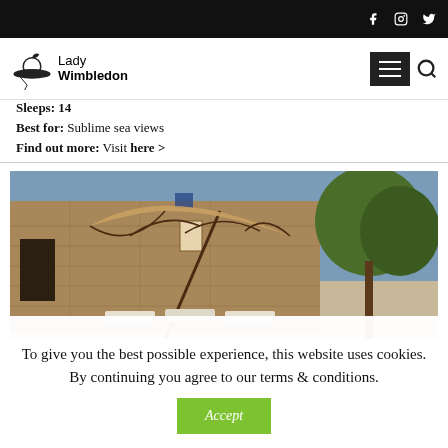Lady Wimbledon — navigation bar with social icons (Facebook, Instagram, Twitter), hamburger menu, and search icon
Sleeps: 14
Best for: Sublime sea views
Find out more: Visit here >
[Figure (photo): Exterior of a rustic stone farmhouse with a large parasol/umbrella in the foreground, pool loungers, and trees in the background under a blue sky.]
To give you the best possible experience, this website uses cookies. By continuing you agree to our terms & conditions.
Accept